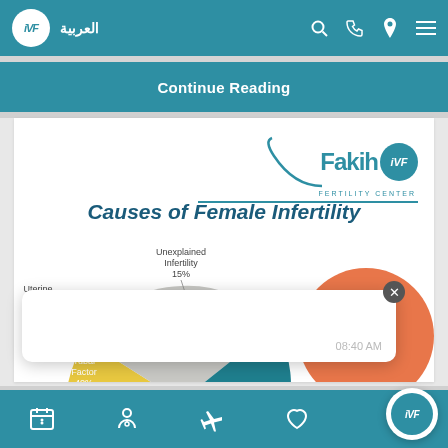العربية | IVF
Continue Reading
[Figure (logo): Fakih IVF Fertility Center logo with teal circle badge]
Causes of Female Infertility
[Figure (pie-chart): Pie chart partially visible showing causes of female infertility with slices for Uterine Factor 5%, Unexplained Infertility 15%, Tubal Factor 40%, PCOS 35%]
Navigation bar with calendar, doctor, plane, heart icons and IVF FAB button